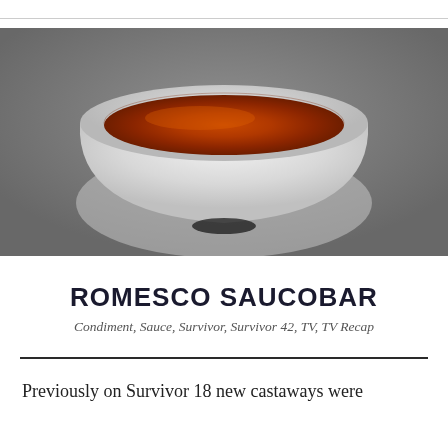[Figure (photo): A white ceramic bowl filled with orange-red romesco sauce, photographed from above on a grey concrete surface.]
ROMESCO SAUCOBAR
Condiment, Sauce, Survivor, Survivor 42, TV, TV Recap
Previously on Survivor 18 new castaways were